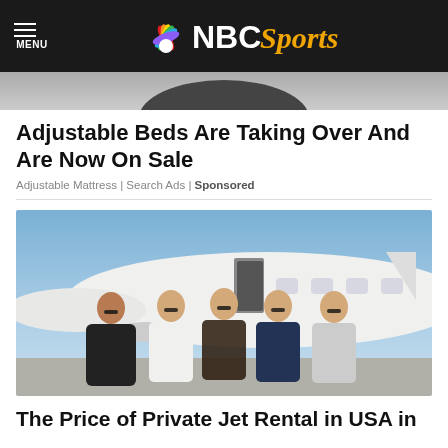MENU | NBC Sports
[Figure (photo): Partial image cropped at top, showing dark rounded shape against grey background]
Adjustable Beds Are Taking Over And Are Now On Sale
Adjustable Mattress | Search Ads | Sponsored
[Figure (photo): Five young women wearing sunglasses posing in front of a white private jet on a tarmac]
The Price of Private Jet Rental in USA in